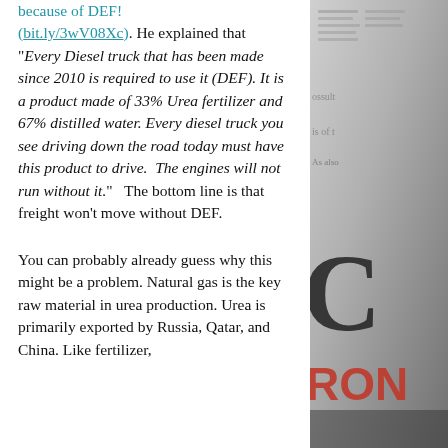because of DEF! (bit.ly/3wV08Xc). He explained that "Every Diesel truck that has been made since 2010 is required to use it (DEF). It is a product made of 33% Urea fertilizer and 67% distilled water. Every diesel truck you see driving down the road today must have this product to drive. The engines will not run without it."  The bottom line is that freight won't move without DEF.
You can probably already guess why this might be a problem. Natural gas is the key raw material in urea production. Urea is primarily exported by Russia, Qatar, and China. Like fertilizer,
[Figure (photo): Partial photograph of a newspaper page visible on the right side of the image, showing large bold letterforms and text columns.]